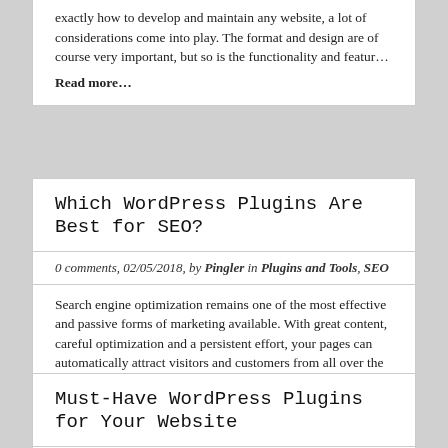exactly how to develop and maintain any website, a lot of considerations come into play. The format and design are of course very important, but so is the functionality and featur… Read more…
Which WordPress Plugins Are Best for SEO?
0 comments, 02/05/2018, by Pingler in Plugins and Tools, SEO
Search engine optimization remains one of the most effective and passive forms of marketing available. With great content, careful optimization and a persistent effort, your pages can automatically attract visitors and customers from all over the world. Despite the benefits that SEO provides, it can… Read more…
Must-Have WordPress Plugins for Your Website
0 comments, 11/04/2017, by Pingler in Web Design
With more people using WordPress than ever before, it's no surprise that you may be considering using it as well. Whether